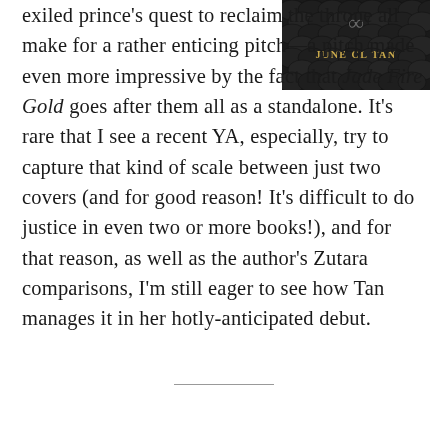[Figure (photo): Book cover of Jade Fire Gold by June CL Tan, showing dark decorative elements and the author's name in gold text]
exiled prince's quest to reclaim the throne all make for a rather enticing pitch––a pitch made even more impressive by the fact that Jade Fire Gold goes after them all as a standalone. It's rare that I see a recent YA, especially, try to capture that kind of scale between just two covers (and for good reason! It's difficult to do justice in even two or more books!), and for that reason, as well as the author's Zutara comparisons, I'm still eager to see how Tan manages it in her hotly-anticipated debut.